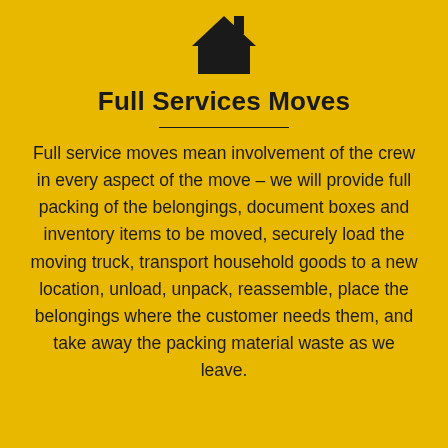[Figure (illustration): Black house icon with roof and chimney silhouette]
Full Services Moves
Full service moves mean involvement of the crew in every aspect of the move – we will provide full packing of the belongings, document boxes and inventory items to be moved, securely load the moving truck, transport household goods to a new location, unload, unpack, reassemble, place the belongings where the customer needs them, and take away the packing material waste as we leave.